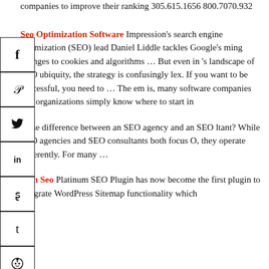companies to improve their ranking 305.615.1656 800.7070.932
[Figure (infographic): Social media sharing sidebar with icons for Facebook, Pinterest, Twitter, LinkedIn, StumbleUpon, Tumblr, and Reddit]
Seo Optimization Software Impression's search engine optimization (SEO) lead Daniel Liddle tackles Google's ming changes to cookies and algorithms … But even in 's landscape of SEO ubiquity, the strategy is confusingly lex. If you want to be successful, you need to … The em is, many software companies and organizations simply know where to start in
is the difference between an SEO agency and an SEO ltant? While SEO agencies and SEO consultants both focus O, they operate differently. For many …
num Seo Platinum SEO Plugin has now become the first plugin to integrate WordPress Sitemap functionality which